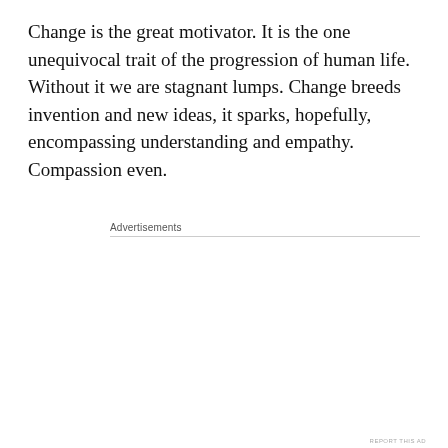Change is the great motivator. It is the one unequivocal trait of the progression of human life. Without it we are stagnant lumps. Change breeds invention and new ideas, it sparks, hopefully, encompassing understanding and empathy. Compassion even.
Advertisements
[Figure (infographic): Automattic advertisement: logo 'AUTOMATTIC' with circular O icon, headline 'Build a better web and a better world.', a blue Apply button, and a circular photo of a man thinking.]
REPORT THIS AD